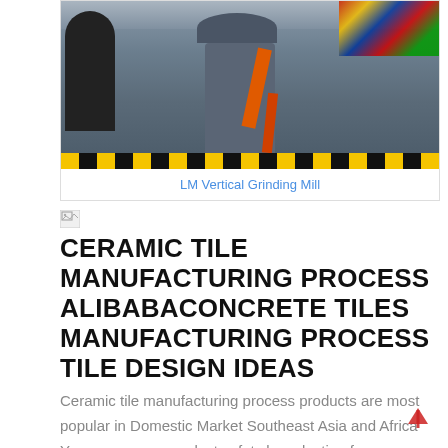[Figure (photo): Industrial factory interior showing a large gray vertical grinding mill machine with orange arm/tool attachment, black machinery on the left, international flags visible in the upper right, yellow and black safety stripes on the floor]
LM Vertical Grinding Mill
[Figure (photo): Small broken/missing image icon]
CERAMIC TILE MANUFACTURING PROCESS ALIBABACONCRETE TILES MANUFACTURING PROCESS TILE DESIGN IDEAS
Ceramic tile manufacturing process products are most popular in Domestic Market Southeast Asia and Africa You can ensure product safety by selecting from